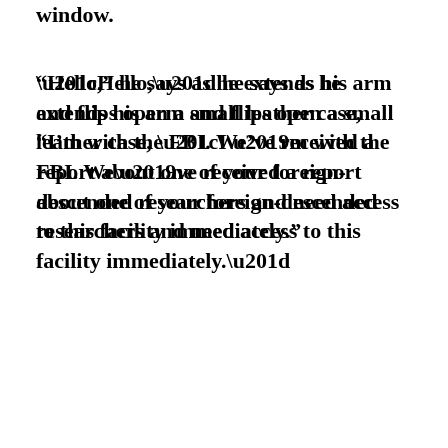window.
“Hello,” he says as he extends his arm and flips open a small leather case, “I’m with the FBI. We’ve received a report about one of your foreign-descended researchers and need access to this facility immediately.”
The security guard looks at the badge housed within the leather case in front of their face.
The man in the car flips the case closed, retracts his arm, and restates, “I need access immediately.”
The security guard hesitates.